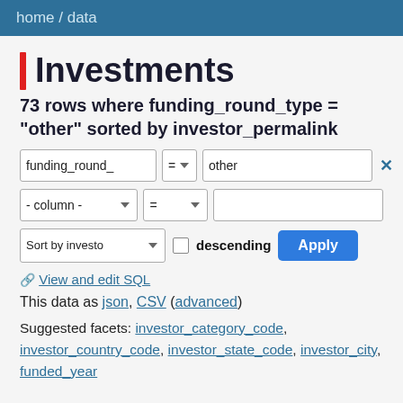home / data
Investments
73 rows where funding_round_type = "other" sorted by investor_permalink
View and edit SQL
This data as json, CSV (advanced)
Suggested facets: investor_category_code, investor_country_code, investor_state_code, investor_city, funded_year